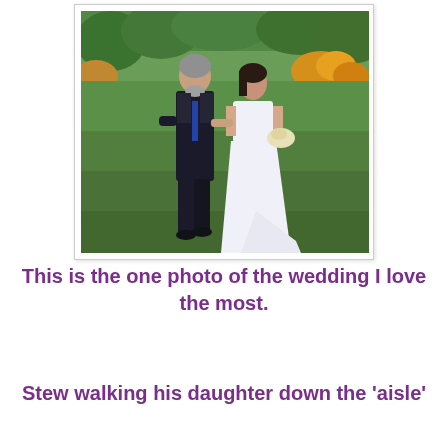[Figure (photo): A man in a dark suit walking arm-in-arm with a bride in a white wedding dress across a green lawn with gardens in the background. The man (Stew) is walking his daughter down the 'aisle'.]
This is the one photo of the wedding I love the most.
Stew walking his daughter down the 'aisle'